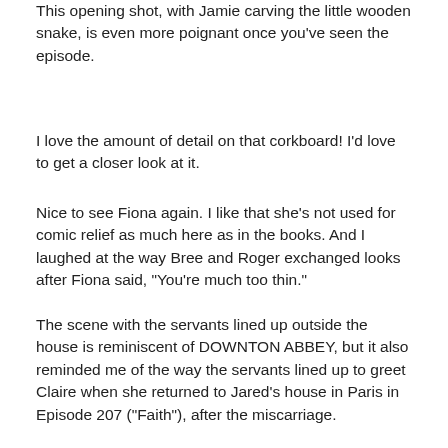This opening shot, with Jamie carving the little wooden snake, is even more poignant once you've seen the episode.
I love the amount of detail on that corkboard! I'd love to get a closer look at it.
Nice to see Fiona again. I like that she's not used for comic relief as much here as in the books. And I laughed at the way Bree and Roger exchanged looks after Fiona said, "You're much too thin."
The scene with the servants lined up outside the house is reminiscent of DOWNTON ABBEY, but it also reminded me of the way the servants lined up to greet Claire when she returned to Jared's house in Paris in Episode 207 ("Faith"), after the miscarriage.
Interesting that Lord Dunsany doesn't hold Jamie's Jacobite past against him. "You were defeated. Our quarrels are bygone."